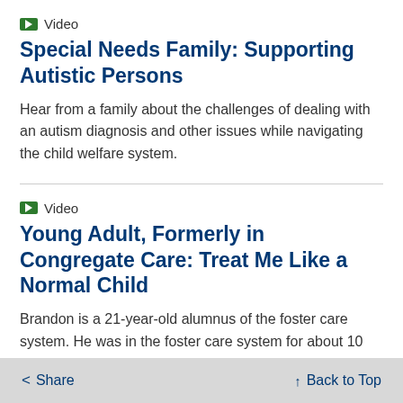Video
Special Needs Family: Supporting Autistic Persons
Hear from a family about the challenges of dealing with an autism diagnosis and other issues while navigating the child welfare system.
Video
Young Adult, Formerly in Congregate Care: Treat Me Like a Normal Child
Brandon is a 21-year-old alumnus of the foster care system. He was in the foster care system for about 10 years and serves as a foster care [advocate, working in State govern...] 2 years. He feels that normal activities for all youth
< Share   ↑ Back to Top